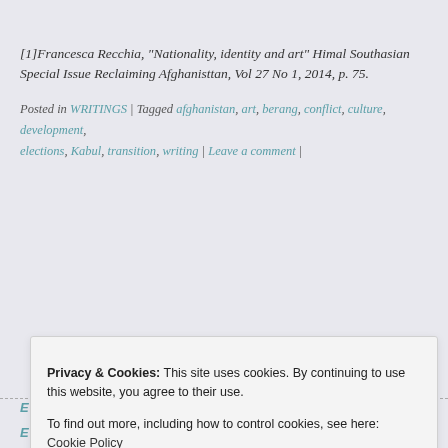[1]Francesca Recchia, “Nationality, identity and art” Himal Southasian Special Issue Reclaiming Afghanisttan, Vol 27 No 1, 2014, p. 75.
Posted in WRITINGS | Tagged afghanistan, art, berang, conflict, culture, development, elections, Kabul, transition, writing | Leave a comment |
[Figure (logo): Twitter bird icon in white on black square button]
Privacy & Cookies: This site uses cookies. By continuing to use this website, you agree to their use. To find out more, including how to control cookies, see here: Cookie Policy
Close and accept